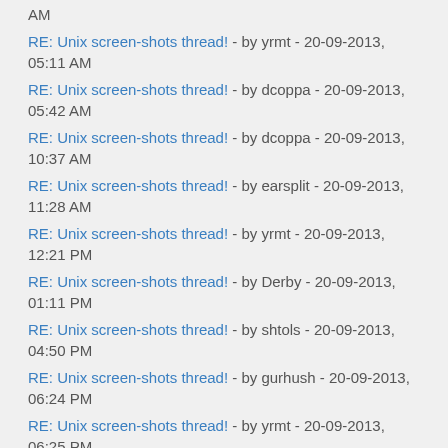AM
RE: Unix screen-shots thread! - by yrmt - 20-09-2013, 05:11 AM
RE: Unix screen-shots thread! - by dcoppa - 20-09-2013, 05:42 AM
RE: Unix screen-shots thread! - by dcoppa - 20-09-2013, 10:37 AM
RE: Unix screen-shots thread! - by earsplit - 20-09-2013, 11:28 AM
RE: Unix screen-shots thread! - by yrmt - 20-09-2013, 12:21 PM
RE: Unix screen-shots thread! - by Derby - 20-09-2013, 01:11 PM
RE: Unix screen-shots thread! - by shtols - 20-09-2013, 04:50 PM
RE: Unix screen-shots thread! - by gurhush - 20-09-2013, 06:24 PM
RE: Unix screen-shots thread! - by yrmt - 20-09-2013, 06:25 PM
RE: Unix screen-shots thread! - by jobss - 30-09-2013, 12:30 PM